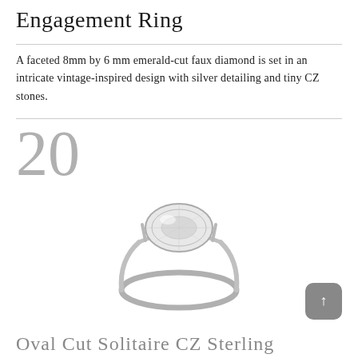Engagement Ring
A faceted 8mm by 6 mm emerald-cut faux diamond is set in an intricate vintage-inspired design with silver detailing and tiny CZ stones.
20
[Figure (photo): A silver solitaire ring with an oval-cut CZ stone set in a four-prong setting on a thin silver band, photographed against a white background.]
Oval Cut Solitaire CZ Sterling